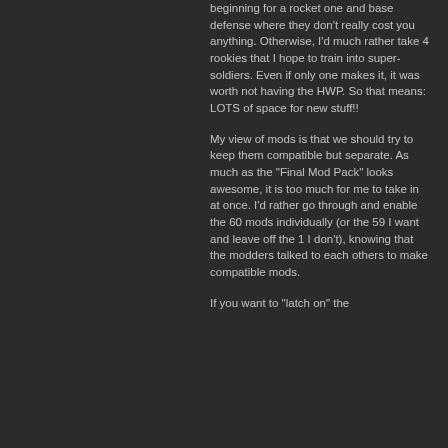beginning for a rocket one and base defense where they don't really cost you anything. Otherwise, I'd much rather take 4 rookies that I hope to train into super-soldiers. Even if only one makes it, it was worth not having the HWP. So that means: LOTS of space for new stuff!!
My view of mods is that we should try to keep them compatible but separate. As much as the "Final Mod Pack" looks awesome, it is too much for me to take in at once. I'd rather go through and enable the 60 mods individually (or the 59 I want and leave off the 1 I don't), knowing that the modders talked to each others to make compatible mods.
If you want to "latch on" the